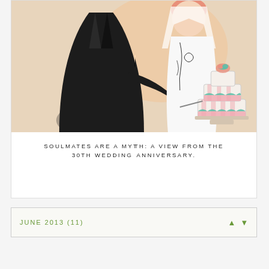[Figure (illustration): Illustrated drawing of a couple cutting a wedding cake. The man wears a dark suit and the woman wears a white outfit. A tiered wedding cake with teal and pink decorations is shown in the lower right.]
SOULMATES ARE A MYTH: A VIEW FROM THE 30TH WEDDING ANNIVERSARY.
JUNE 2013 (11)